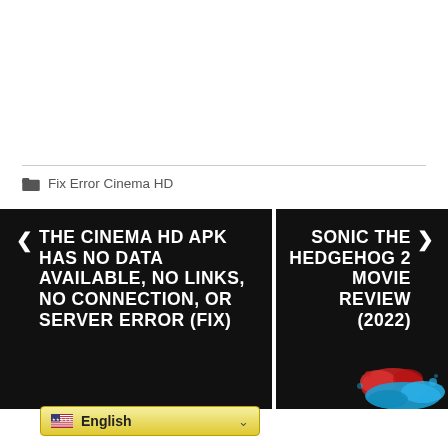Fix Error Cinema HD
[Figure (other): Navigation strip with two panels: left panel (black background) shows previous article link 'THE CINEMA HD APK HAS NO DATA AVAILABLE, NO LINKS, NO CONNECTION, OR SERVER ERROR (FIX)' with left chevron; right panel (black background) shows next article link 'SONIC THE HEDGEHOG 2 MOVIE REVIEW (2022)' with right chevron and a colorful movie thumbnail]
[Figure (other): Language selector bar with US flag and 'English' text with dropdown arrow, styled with yellow gradient background]